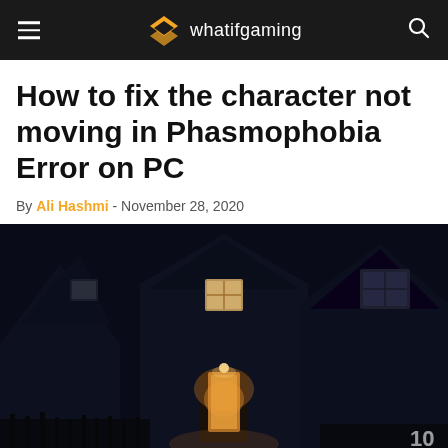whatifgaming
How to fix the character not moving in Phasmophobia Error on PC
By Ali Hashmi - November 28, 2020
[Figure (photo): Dark screenshot from the game Phasmophobia showing a haunted house exterior at night with a lit doorway and illuminated windows against a dark sky. A '10' watermark appears in the bottom right corner.]